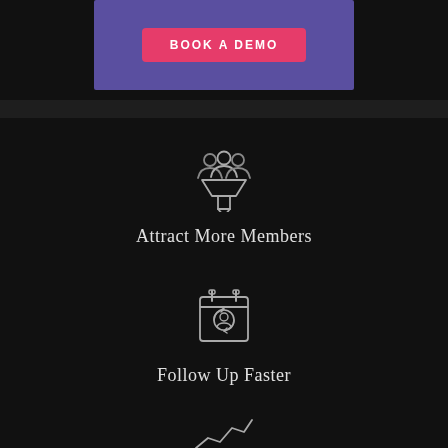[Figure (illustration): Purple box with a pink 'BOOK A DEMO' button]
[Figure (illustration): Funnel/filter icon with three people figures at top, on dark background]
Attract More Members
[Figure (illustration): Calendar icon with a refresh/person icon inside, on dark background]
Follow Up Faster
[Figure (illustration): Partial view of a line chart/growth icon at bottom of page]